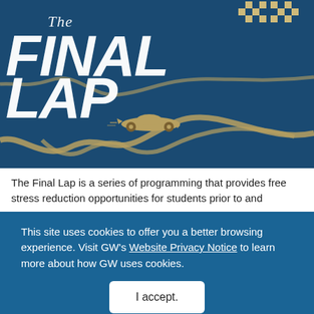[Figure (illustration): The Final Lap promotional graphic: dark blue background with a gold racing track winding across the image, a gold vintage racing car in the center, checkered race flags at the top right, and large italic bold white text reading 'The FINAL LAP' at the top.]
The Final Lap is a series of programming that provides free stress reduction opportunities for students prior to and
This site uses cookies to offer you a better browsing experience. Visit GW's Website Privacy Notice to learn more about how GW uses cookies.

I accept.